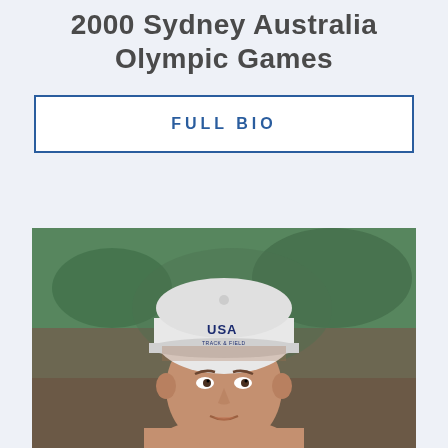2000 Sydney Australia Olympic Games
FULL BIO
[Figure (photo): Close-up photo of a male athlete wearing a white USA Track & Field cap, looking forward, with a blurred green background suggesting an outdoor sports venue.]